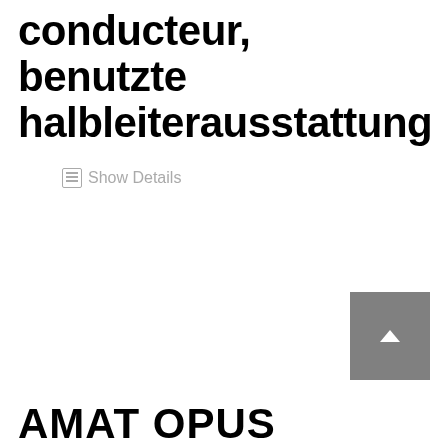conducteur, benutzte halbleiterausstattung
Show Details
[Figure (other): Scroll-to-top button with upward arrow, gray square button in bottom right area]
AMAT OPUS